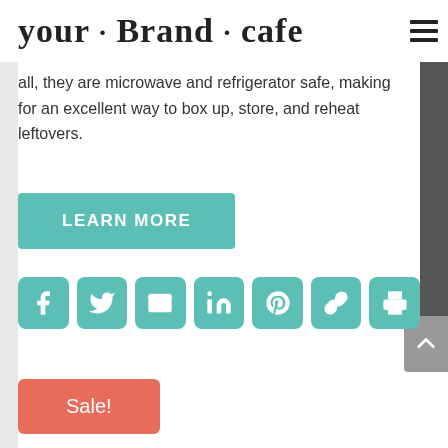your · Brand · cafe
all, they are microwave and refrigerator safe, making for an excellent way to box up, store, and reheat leftovers.
[Figure (other): Teal 'LEARN MORE' call-to-action button]
[Figure (other): Row of 7 teal social sharing icons: Facebook, Twitter, Email, LinkedIn, Pinterest, Link, Print]
[Figure (other): Coral/salmon 'Sale!' badge button]